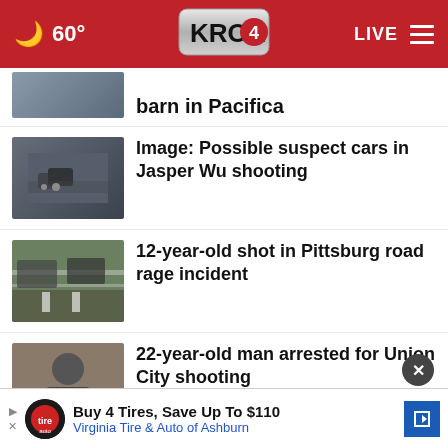60° KRON4 LIVE
barn in Pacifica
Image: Possible suspect cars in Jasper Wu shooting
12-year-old shot in Pittsburg road rage incident
22-year-old man arrested for Union City shooting
More Stories ›
Buy 4 Tires, Save Up To $110 Virginia Tire & Auto of Ashburn